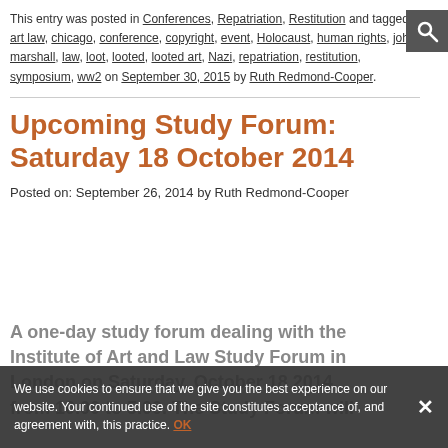This entry was posted in Conferences, Repatriation, Restitution and tagged art law, chicago, conference, copyright, event, Holocaust, human rights, john marshall, law, loot, looted, looted art, Nazi, repatriation, restitution, symposium, ww2 on September 30, 2015 by Ruth Redmond-Cooper.
Upcoming Study Forum: Saturday 18 October 2014
Posted on: September 26, 2014 by Ruth Redmond-Cooper
A one-day study forum dealing with the Institute of Art and Law Study Forum in London on Saturday, October 18 2014, from 10.00 to 5.00. The Study Forum will
We use cookies to ensure that we give you the best experience on our website. Your continued use of the site constitutes acceptance of, and agreement with, this practice.